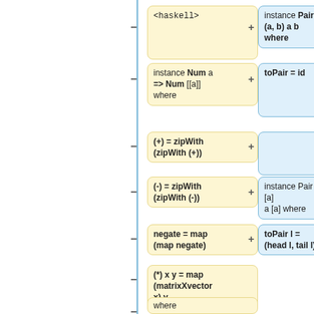[Figure (flowchart): Side-by-side diff view of Haskell code changes. Left column (yellow boxes, minus signs) shows removed code; right column (blue boxes, plus signs) shows added code. Content includes: <haskell> tag, instance Num a => Num [[a]] where, (+) = zipWith (zipWith (+)), (-) = zipWith (zipWith (-)), negate = map (map negate), (*) x y = map (matrixXvector x) y, where, matrixXvector. Right column shows: instance Pair (a, b) a b where, toPair = id, (empty box), instance Pair [a] a [a] where, toPair l = (head l, tail l).]